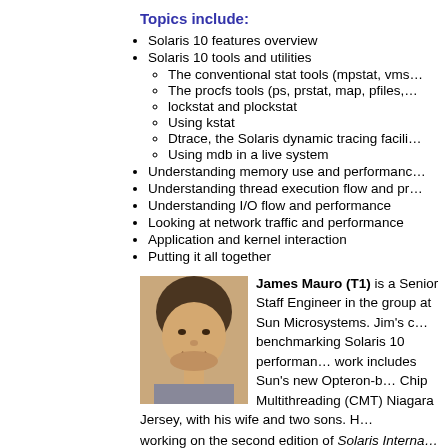Topics include:
Solaris 10 features overview
Solaris 10 tools and utilities
The conventional stat tools (mpstat, vms…
The procfs tools (ps, prstat, map, pfiles,…
lockstat and plockstat
Using kstat
Dtrace, the Solaris dynamic tracing facili…
Using mdb in a live system
Understanding memory use and performanc…
Understanding thread execution flow and pr…
Understanding I/O flow and performance
Looking at network traffic and performance
Application and kernel interaction
Putting it all together
James Mauro (T1) is a Senior Staff Engineer in the group at Sun Microsystems. Jim's current work includes benchmarking Solaris 10 performance. His work includes Sun's new Opteron-based Chip Multithreading (CMT) Niagara systems. He lives in New Jersey, with his wife and two sons. He is currently working on the second edition of Solaris Internals / Solaris Internals with Richard McDougall and has been with Sun for the past eight years.
Richard McDougall (T1) had he lived 100 y…